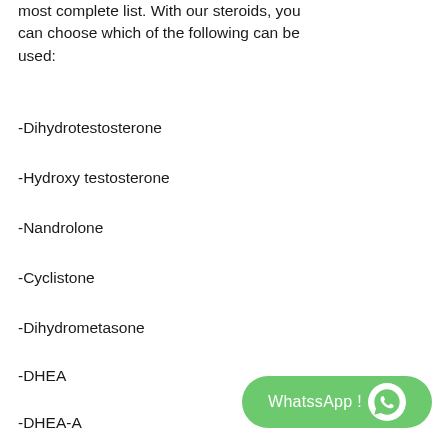most complete list. With our steroids, you can choose which of the following can be used:
-Dihydrotestosterone
-Hydroxy testosterone
-Nandrolone
-Cyclistone
-Dihydrometasone
-DHEA
-DHEA-A
-Mesterolone
-Folliculor